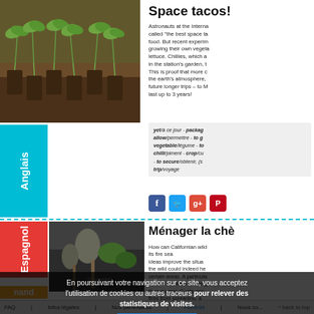[Figure (photo): Seedlings sprouting from dark soil plugs, close-up photo]
Space tacos!
Astronauts at the Interna... called "the best space ta... food. But recent experim... growing their own vegeta... lettuce. Chillies, which a... in the station's garden, t... This is proof that more c... the earth's atmosphere,... future longer trips – to M... last up to 3 years!
yet/à ce jour - packag... allow/permettre - to g... vegetable/légume - to... chilli/piment - crop/cu... - to secure/obtenir, (s... trip/voyage
[Figure (photo): Gardening tools and plants, partially obscured by cookie consent overlay]
Ménager la chè...
How can Californian wild... its fire sea... ideas improve the situa... the wild could indeed he... certain areas. A particula... curtails the area where g... than normal. Goats can... fires from spreading, a...
En poursuivant votre navigation sur ce site, vous acceptez l'utilisation de cookies ou autres traceurs pour relever des statistiques de visites.
Je comprends
FAQ | Infos légales | Nos partenaires | Publicité | Nous co... ^ back to top